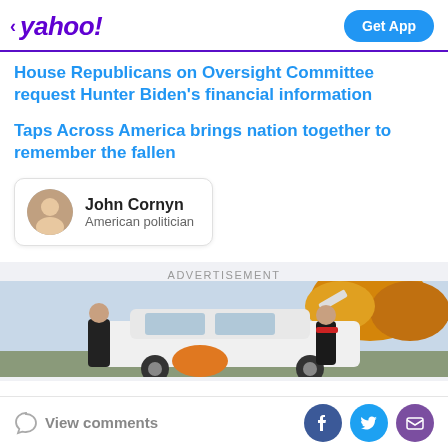yahoo! | Get App
House Republicans on Oversight Committee request Hunter Biden's financial information
Taps Across America brings nation together to remember the fallen
John Cornyn
American politician
ADVERTISEMENT
[Figure (photo): Two people standing next to a white car with autumn trees in the background]
View comments